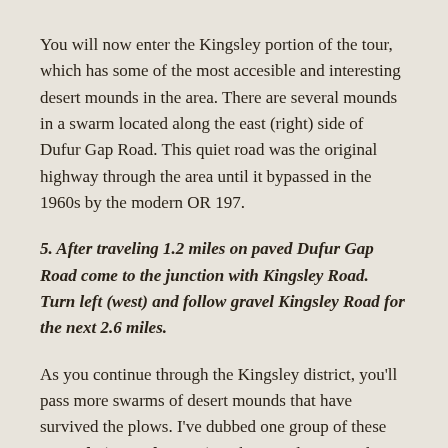You will now enter the Kingsley portion of the tour, which has some of the most accesible and interesting desert mounds in the area. There are several mounds in a swarm located along the east (right) side of Dufur Gap Road. This quiet road was the original highway through the area until it bypassed in the 1960s by the modern OR 197.
5. After traveling 1.2 miles on paved Dufur Gap Road come to the junction with Kingsley Road. Turn left (west) and follow gravel Kingsley Road for the next 2.6 miles.
As you continue through the Kingsley district, you'll pass more swarms of desert mounds that have survived the plows. I've dubbed one group of these mounds (G on the map) as the "Garden Mounds", as they are topped with a